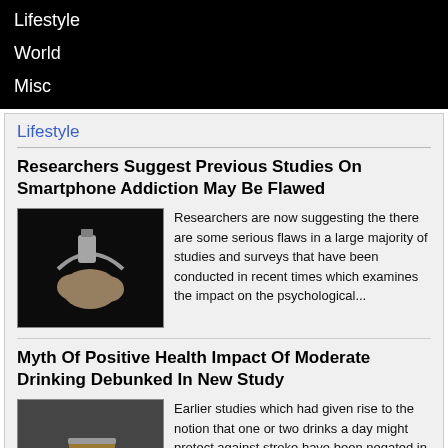Lifestyle
World
Misc
Lifestyle
Researchers Suggest Previous Studies On Smartphone Addiction May Be Flawed
[Figure (photo): Hands bound with smartphone cable on dark background]
Researchers are now suggesting the there are some serious flaws in a large majority of studies and surveys that have been conducted in recent times which examines the impact on the psychological...
Myth Of Positive Health Impact Of Moderate Drinking Debunked In New Study
[Figure (photo): Person in suit holding a glass of whiskey]
Earlier studies which had given rise to the notion that one or two drinks a day might protect against stroke have been negated in the results of a major genetic study which has also claimed a very...